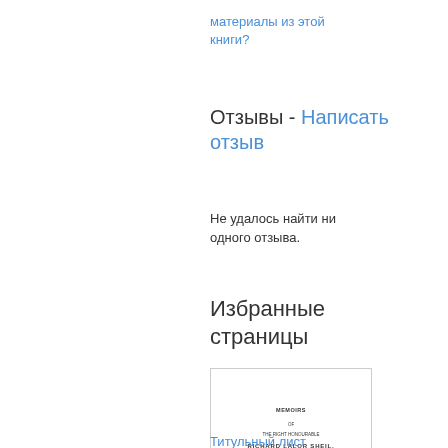материалы из этой книги?
Отзывы - Написать отзыв
Не удалось найти ни одного отзыва.
Избранные страницы
[Figure (photo): Thumbnail image of a book title page for 'Memoirs of the Right Honourable Richard Lalor Sheil']
Титульный лист